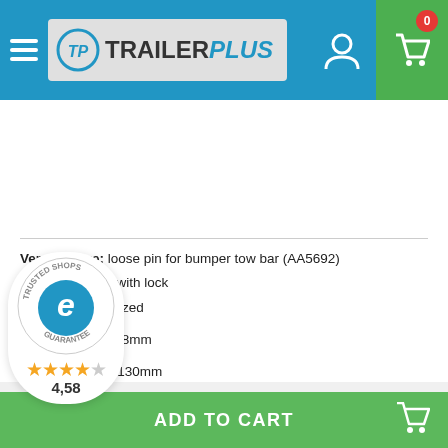TrailerPlus — navigation header with logo, user icon, cart icon (0 items)
Version/Size: loose pin for bumper tow bar (AA5692)
Type: loose pin with lock
Material: galvanized

pin diameter A=28mm

useful length B=130mm
| Productcode | AA5693 |
| --- | --- |
|  | Universeel |
ADD TO CART